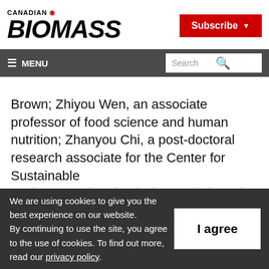CANADIAN BIOMASS
Subscribe
≡ MENU   Search
Brown; Zhiyou Wen, an associate professor of food science and human nutrition; Zhanyou Chi, a post-doctoral research associate for the Center for Sustainable Environmental Technologies; and Shengde
We are using cookies to give you the best experience on our website. By continuing to use the site, you agree to the use of cookies. To find out more, read our privacy policy.
I agree